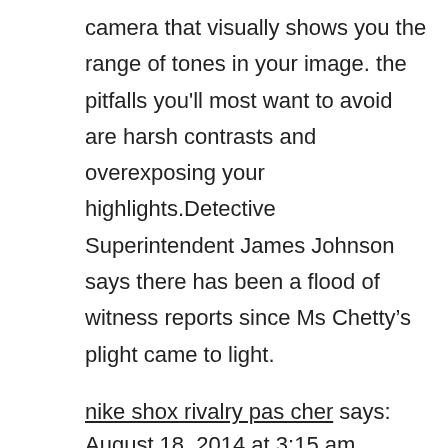camera that visually shows you the range of tones in your image. the pitfalls you'll most want to avoid are harsh contrasts and overexposing your highlights.Detective Superintendent James Johnson says there has been a flood of witness reports since Ms Chetty's plight came to light.
nike shox rivalry pas cher says:
August 18, 2014 at 3:15 am
you are aware of if facebook or twitter would just deal with their server tempo they would resolve like 905 of the issues, how tricky can it be?